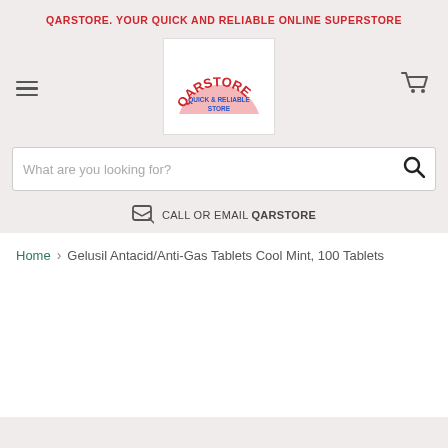QARSTORE. YOUR QUICK AND RELIABLE ONLINE SUPERSTORE
[Figure (logo): QARSTORE logo — red arched text 'QARSTORE' over blue text 'QUICK & RELIABLE STORE' on white background]
What are you looking for?
CALL OR EMAIL QARSTORE
Home > Gelusil Antacid/Anti-Gas Tablets Cool Mint, 100 Tablets